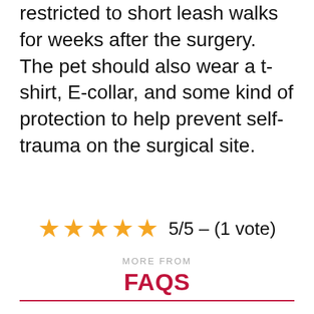restricted to short leash walks for weeks after the surgery. The pet should also wear a t-shirt, E-collar, and some kind of protection to help prevent self-trauma on the surgical site.
[Figure (other): 5-star rating display showing 5 filled gold stars with text '5/5 - (1 vote)']
MORE FROM
FAQS